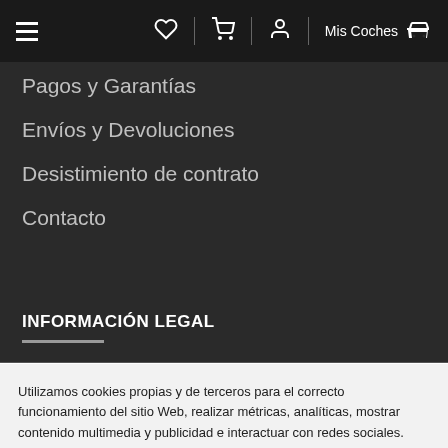≡  ♡  🛒  👤  Mis Coches  🚗
Pagos y Garantías
Envíos y Devoluciones
Desistimiento de contrato
Contacto
INFORMACIÓN LEGAL
Utilizamos cookies propias y de terceros para el correcto funcionamiento del sitio Web, realizar métricas, analíticas, mostrar contenido multimedia y publicidad e interactuar con redes sociales. Más información en nuestra Política de Cookies
Configuración  Aceptar  Rechazar